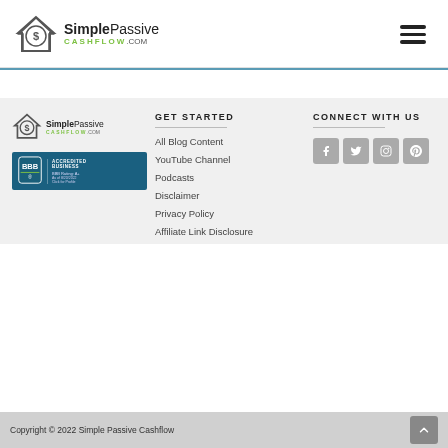[Figure (logo): Simple Passive Cashflow logo with house icon and dollar sign]
[Figure (logo): Hamburger menu icon (three horizontal lines)]
[Figure (logo): Simple Passive Cashflow footer logo]
[Figure (other): BBB Accredited Business badge, Rating A+, As of 8/20/2022]
GET STARTED
All Blog Content
YouTube Channel
Podcasts
Disclaimer
Privacy Policy
Affiliate Link Disclosure
CONNECT WITH US
[Figure (other): Social media icons: Facebook, Twitter, Instagram, Pinterest]
Copyright © 2022 Simple Passive Cashflow